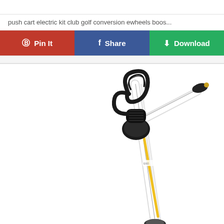push cart electric kit club golf conversion ewheels boos...
[Figure (other): Three social sharing buttons: Pin It (red, Pinterest), Share (blue, Facebook), Download (green, with download icon)]
[Figure (photo): Close-up photo of an electric golf push cart handle and upper frame, showing black handle grip with loops, white/silver metal frame tubes, and yellow accents, photographed from above against white background]